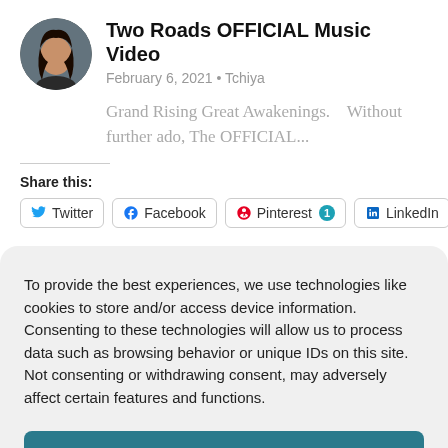Two Roads OFFICIAL Music Video
February 6, 2021 • Tchiya
Grand Rising Great Awakenings.    Without further ado, The OFFICIAL...
Share this:
Twitter
Facebook
Pinterest 1
LinkedIn
To provide the best experiences, we use technologies like cookies to store and/or access device information. Consenting to these technologies will allow us to process data such as browsing behavior or unique IDs on this site. Not consenting or withdrawing consent, may adversely affect certain features and functions.
ACCEPT
Cookie Policy